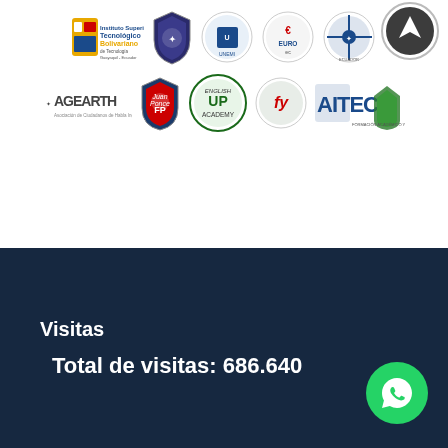[Figure (logo): Row of institution logos including Instituto Tecnológico Bolivariano, a police/security shield logo, UNEMI, EuroEc, and a compass/cross logo]
[Figure (logo): Row of logos including AGEARTH, Juan Ponce FP shield, English UP Academy, FJ logo, and AITEC]
Visitas
Total de visitas: 686.640